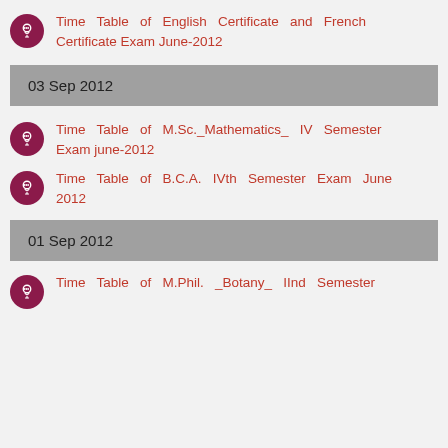Time Table of English Certificate and French Certificate Exam June-2012
03 Sep 2012
Time Table of M.Sc._Mathematics_ IV Semester Exam june-2012
Time Table of B.C.A. IVth Semester Exam June 2012
01 Sep 2012
Time Table of M.Phil. _Botany_ IInd Semester